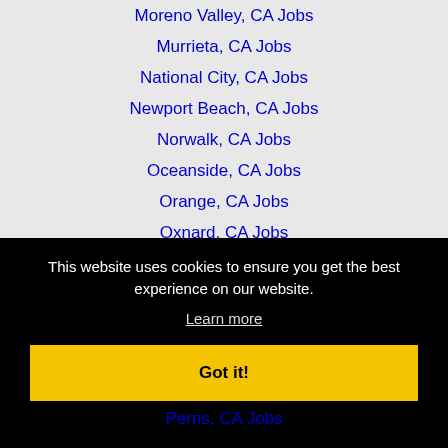Moreno Valley, CA Jobs
Murrieta, CA Jobs
National City, CA Jobs
Newport Beach, CA Jobs
Norwalk, CA Jobs
Oceanside, CA Jobs
Orange, CA Jobs
Oxnard, CA Jobs
Palm Desert, CA Jobs
Palm Springs, CA Jobs
This website uses cookies to ensure you get the best experience on our website.
Learn more
Got it!
Perris, CA Jobs